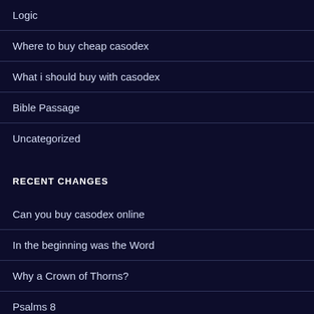Logic
Where to buy cheap casodex
What i should buy with casodex
Bible Passage
Uncategorized
RECENT CHANGES
Can you buy casodex online
In the beginning was the Word
Why a Crown of Thorns?
Psalms 8
John 1:1-3